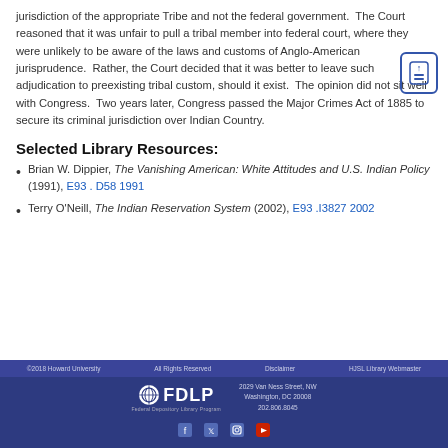jurisdiction of the appropriate Tribe and not the federal government. The Court reasoned that it was unfair to pull a tribal member into federal court, where they were unlikely to be aware of the laws and customs of Anglo-American jurisprudence. Rather, the Court decided that it was better to leave such adjudication to preexisting tribal custom, should it exist. The opinion did not sit well with Congress. Two years later, Congress passed the Major Crimes Act of 1885 to secure its criminal jurisdiction over Indian Country.
Selected Library Resources:
Brian W. Dippier, The Vanishing American: White Attitudes and U.S. Indian Policy (1991), E93 . D58 1991
Terry O'Neill, The Indian Reservation System (2002), E93 .I3827 2002
©2018 Howard University   All Rights Reserved   Disclaimer   HJSL Library Webmaster   2029 Van Ness Street, NW Washington, DC 20008 202.806.8045